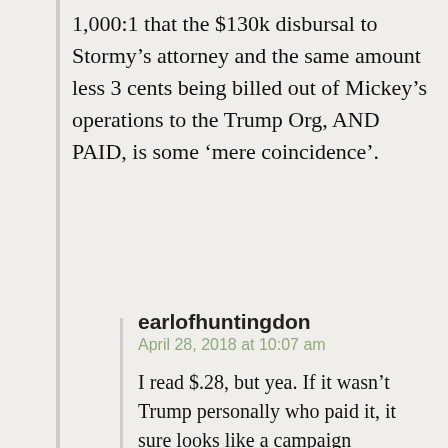1,000:1 that the $130k disbursal to Stormy's attorney and the same amount less 3 cents being billed out of Mickey's operations to the Trump Org, AND PAID, is some 'mere coincidence'.
earlofhuntingdon
April 28, 2018 at 10:07 am

I read $.28, but yea. If it wasn't Trump personally who paid it, it sure looks like a campaign contribution. And